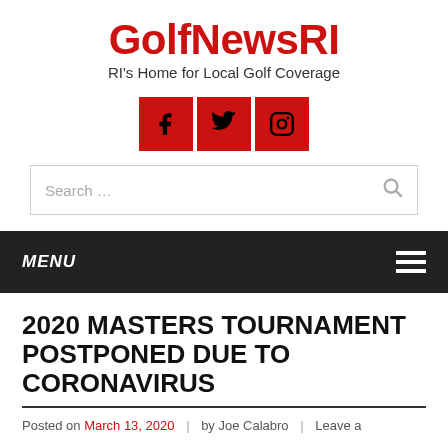GolfNewsRI
RI's Home for Local Golf Coverage
[Figure (other): Three red square social media icons: Facebook, Twitter, Instagram]
[Figure (other): Search bar with placeholder text 'Search ...' and a magnifying glass icon]
MENU
2020 MASTERS TOURNAMENT POSTPONED DUE TO CORONAVIRUS
Posted on March 13, 2020 | by Joe Calabro | Leave a